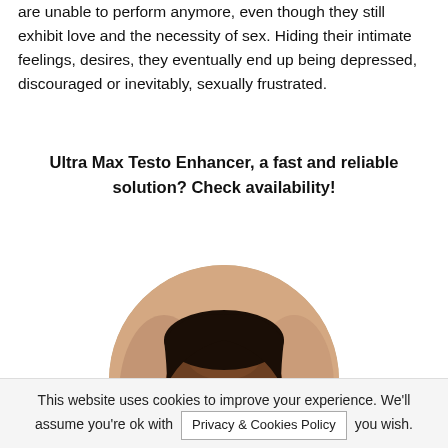are unable to perform anymore, even though they still exhibit love and the necessity of sex. Hiding their intimate feelings, desires, they eventually end up being depressed, discouraged or inevitably, sexually frustrated.
Ultra Max Testo Enhancer, a fast and reliable solution? Check availability!
[Figure (photo): A smiling Black man photographed in a circular crop, shown from the shoulders up.]
This website uses cookies to improve your experience. We'll assume you're ok with [Privacy & Cookies Policy button] you wish.